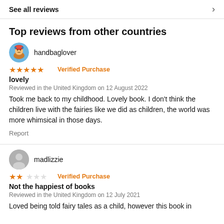See all reviews
Top reviews from other countries
handbaglover
★★★★★ Verified Purchase
lovely
Reviewed in the United Kingdom on 12 August 2022
Took me back to my childhood. Lovely book. I don't think the children live with the fairies like we did as children, the world was more whimsical in those days.
Report
madlizzie
★★☆☆☆ Verified Purchase
Not the happiest of books
Reviewed in the United Kingdom on 12 July 2021
Loved being told fairy tales as a child, however this book in